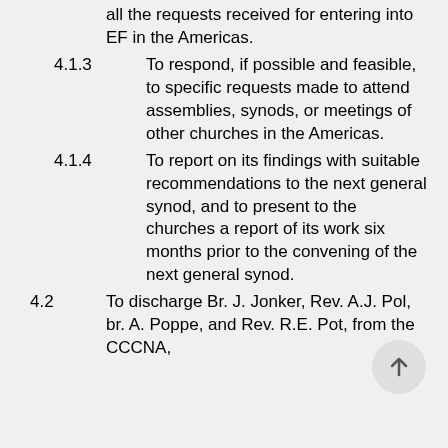all the requests received for entering into EF in the Americas.
4.1.3    To respond, if possible and feasible, to specific requests made to attend assemblies, synods, or meetings of other churches in the Americas.
4.1.4    To report on its findings with suitable recommendations to the next general synod, and to present to the churches a report of its work six months prior to the convening of the next general synod.
4.2    To discharge Br. J. Jonker, Rev. A.J. Pol, br. A. Poppe, and Rev. R.E. Pot, from the CCCNA,